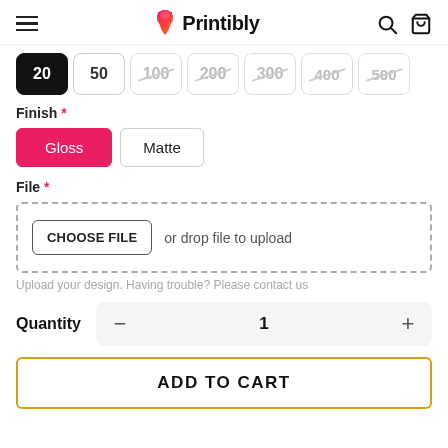Printibly
[Figure (screenshot): Quantity selector buttons: 20 (selected/black), 50, 100 (strikethrough), 200 (strikethrough), 300 (strikethrough), 400 (strikethrough), 500 (strikethrough)]
Finish *
[Figure (screenshot): Finish option buttons: Gloss (selected, pink/red), Matte (unselected)]
File *
[Figure (screenshot): File upload drop zone with CHOOSE FILE button and 'or drop file to upload' text]
Upload your design. Having trouble? Please contact us
Quantity  −  1  +
ADD TO CART